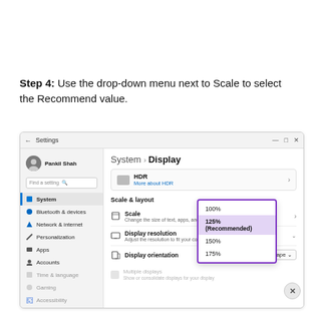Step 4: Use the drop-down menu next to Scale to select the Recommend value.
[Figure (screenshot): Windows 11 Settings window showing System > Display page with Scale & layout section open, a dropdown showing scale options: 100%, 125% (Recommended) highlighted, 150%, 175%. The dropdown is highlighted with a purple border.]